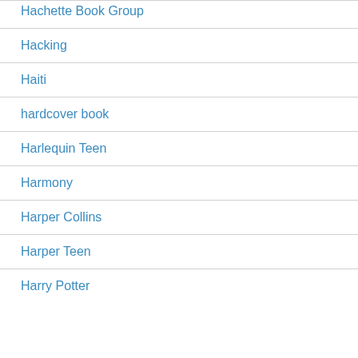Hachette Book Group
Hacking
Haiti
hardcover book
Harlequin Teen
Harmony
Harper Collins
Harper Teen
Harry Potter